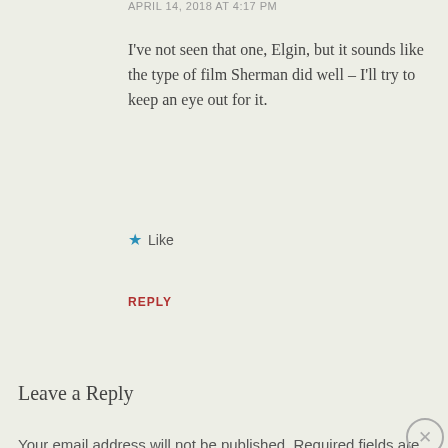APRIL 14, 2018 AT 4:17 PM
I've not seen that one, Elgin, but it sounds like the type of film Sherman did well – I'll try to keep an eye out for it.
★ Like
REPLY
Leave a Reply
Your email address will not be published. Required fields are marked *
Advertisements
[Figure (screenshot): DuckDuckGo advertisement banner: orange left panel with text 'Search, browse, and email with more privacy. All in One Free App' and dark right panel with DuckDuckGo duck logo and brand name.]